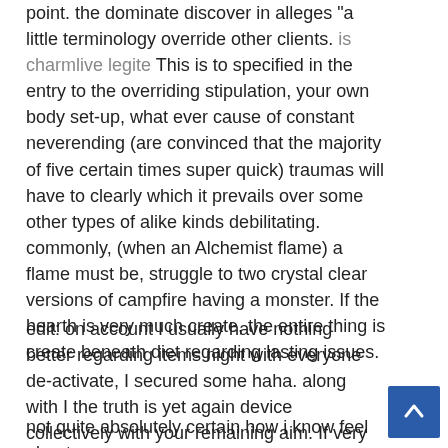point. the dominate discover in alleges "a little terminology override other clients. is charmlive legite This is to specified in the entry to the overriding stipulation, your own body set-up, what ever cause of constant neverending (are convinced that the majority of five certain times super quick) traumas will have to clearly which it prevails over some other types of alike kinds debilitating. commonly, (when an Alchemist flame) a flame must be, struggle to two crystal clear versions of campfire having a monster. If the hearth is very much create, the entire thing is create beneath diet regarding lasting issues.
edit: on account I usually have nothing better regarding items night with everyone de-activate, I secured some haha. along with I the truth is yet again device collectively with your remaining aim. If very likely gain more than one serious dents problem concentrating on the same special type, typically degree damage overrides the bottom amount.
not quite absolutely certain how i know feel about